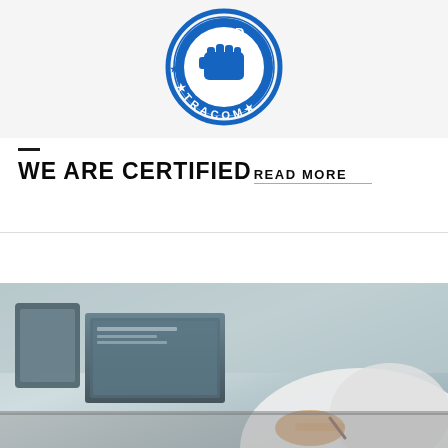[Figure (logo): STRACOM circular certification logo in blue, featuring a fist/hand icon with stars and text STRACOM around the circle]
WE ARE CERTIFIED
READ MORE
[Figure (photo): Person in white shirt writing or working at a desk with laptop and tablet devices visible]